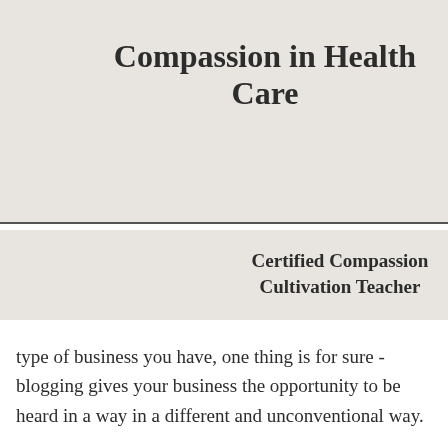Compassion in Health Care
Certified Compassion Cultivation Teacher
what type of business you have, one thing is for sure - blogging gives your business the opportunity to be heard in a way in a different and unconventional way.
Get Inspired
To keep up with all things Wix, including website building tips and interesting articles, head over to to the Wix Blog. You may even find yourself inspired to start